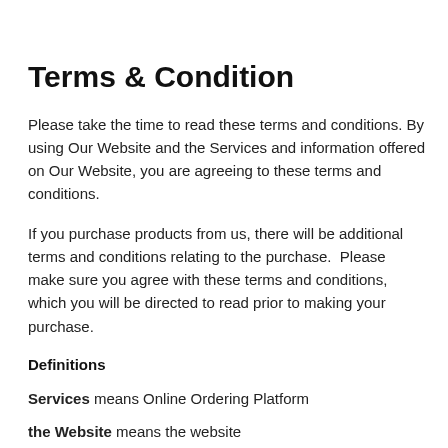Terms & Condition
Please take the time to read these terms and conditions. By using Our Website and the Services and information offered on Our Website, you are agreeing to these terms and conditions.
If you purchase products from us, there will be additional terms and conditions relating to the purchase.  Please make sure you agree with these terms and conditions, which you will be directed to read prior to making your purchase.
Definitions
Services means Online Ordering Platform
the Website means the website www.orderingdirect.com.au